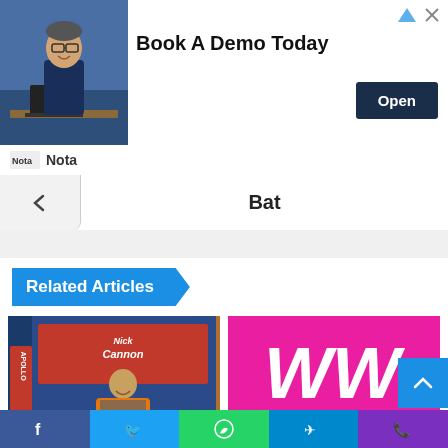[Figure (screenshot): Advertisement banner: man in glasses sitting at desk, 'Book A Demo Today' text, 'Open' dark button, Nota logo below]
Bat
Related Articles
[Figure (photo): Nick Cannon on stage at Apollo theater wearing orange suit, smiling]
Nick Cannon buys house for one of his five baby mamas, more news | Gallery
[Figure (logo): Pink background with white WW logo letters]
ICYMI: Jason Aldean's wife sparks feud with female country artists over anti-tr